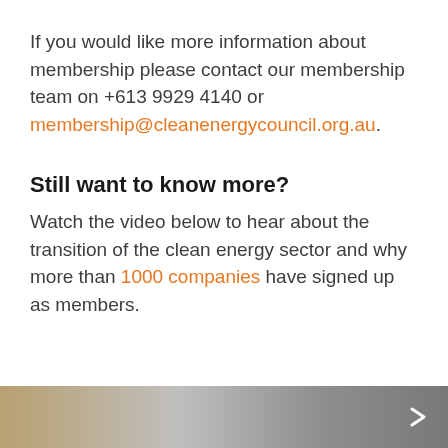If you would like more information about membership please contact our membership team on +613 9929 4140 or membership@cleanenergycouncil.org.au.
Still want to know more?
Watch the video below to hear about the transition of the clean energy sector and why more than 1000 companies have signed up as members.
[Figure (screenshot): Dark video thumbnail strip at the bottom of the page with a chevron/arrow icon on the right side]